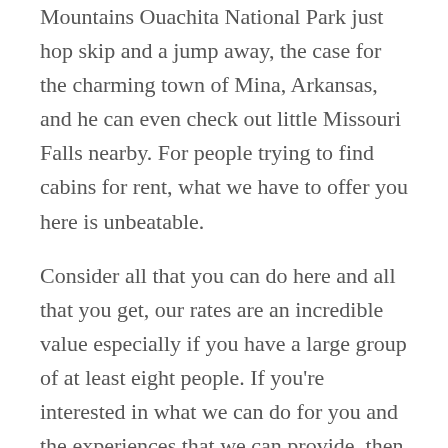Mountains Ouachita National Park just hop skip and a jump away, the case for the charming town of Mina, Arkansas, and he can even check out little Missouri Falls nearby. For people trying to find cabins for rent, what we have to offer you here is unbeatable.
Consider all that you can do here and all that you get, our rates are an incredible value especially if you have a large group of at least eight people. If you're interested in what we can do for you and the experiences that we can provide, then don't hesitate to the website at clearskyridge.com where you can find availability and make reservations directly from there as well, and if you want to speak to somebody directly, then just give us call at 479-274-0759 to speak to somebody right now and she any questions